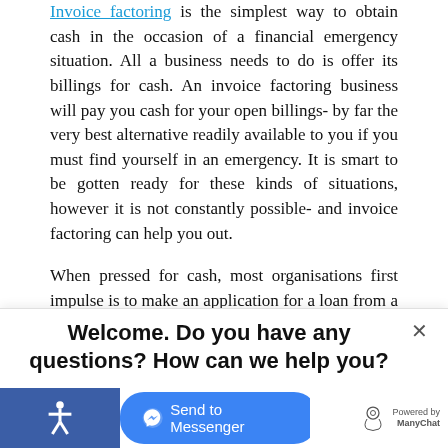Invoice factoring is the simplest way to obtain cash in the occasion of a financial emergency situation. All a business needs to do is offer its billings for cash. An invoice factoring business will pay you cash for your open billings- by far the very best alternative readily available to you if you must find yourself in an emergency. It is smart to be gotten ready for these kinds of situations, however it is not constantly possible- and invoice factoring can help you out.
When pressed for cash, most organisations first impulse is to make an application for a loan from a bank. This is not a wise step, as the majority of banks have actually been stockpiling their loan loss reserves over the last
[Figure (screenshot): Chat widget overlay with text 'Welcome. Do you have any questions? How can we help you?' and a 'Send to Messenger' button in blue, with accessibility icon on bottom left and ManyChat branding on bottom right.]